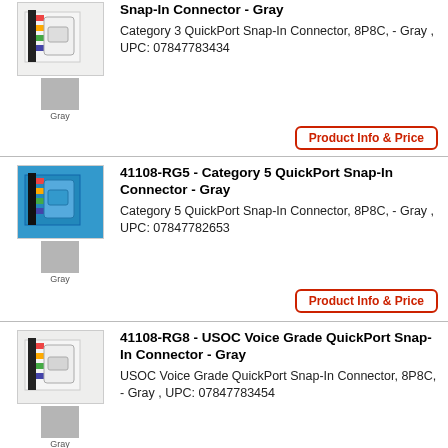Snap-In Connector - Gray
Category 3 QuickPort Snap-In Connector, 8P8C, - Gray , UPC: 07847783434
Product Info & Price
41108-RG5 - Category 5 QuickPort Snap-In Connector - Gray
Category 5 QuickPort Snap-In Connector, 8P8C, - Gray , UPC: 07847782653
Product Info & Price
41108-RG8 - USOC Voice Grade QuickPort Snap-In Connector - Gray
USOC Voice Grade QuickPort Snap-In Connector, 8P8C, - Gray , UPC: 07847783454
Product Info & Price
41108-RI3 - Category 3 QuickPort Snap-In Connector - Ivory